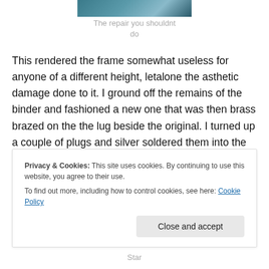[Figure (photo): Partial photo of a bicycle frame repair at the top of the page]
The repair you shouldnt do
This rendered the frame somewhat useless for anyone of a different height, letalone the asthetic damage done to it. I ground off the remains of the binder and fashioned a new one that was then brass brazed on the the lug beside the original. I turned up a couple of plugs and silver soldered them into the holes.
[Figure (photo): Dark photo of bicycle frame repair detail]
Privacy & Cookies: This site uses cookies. By continuing to use this website, you agree to their use.
To find out more, including how to control cookies, see here: Cookie Policy
Star